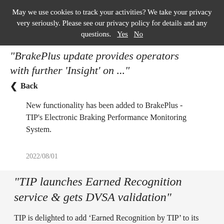May we use cookies to track your activities? We take your privacy very seriously. Please see our privacy policy for details and any questions. Yes No
"BrakePlus update provides operators with further 'Insight' on ..."
< Back
New functionality has been added to BrakePlus - TIP's Electronic Braking Performance Monitoring System.
2022/08/01
"TIP launches Earned Recognition service & gets DVSA validation"
TIP is delighted to add ‘Earned Recognition by TIP’ to its portfolio of services in order to support ...